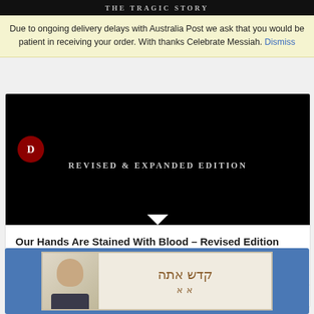[Figure (screenshot): Top strip of a book cover showing 'THE TRAGIC STORY' text on dark background]
Due to ongoing delivery delays with Australia Post we ask that you would be patient in receiving your order. With thanks Celebrate Messiah. Dismiss
[Figure (photo): Book cover with dark/black background showing 'REVISED & EXPANDED EDITION' text in grey letters and a red circular logo with 'D' on the left]
Our Hands Are Stained With Blood – Revised Edition
$25.00
Add to cart
Show Details
[Figure (photo): Book product card with blue background showing a Hebrew-titled book with a man's profile photo and Hebrew text]